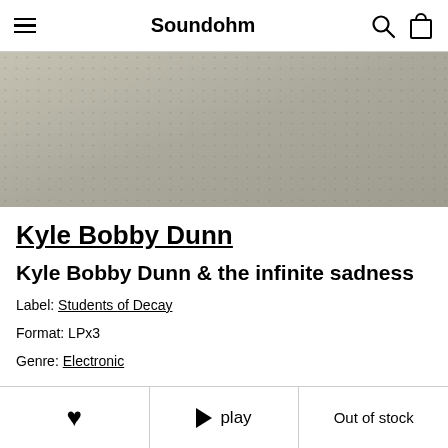Soundohm
[Figure (photo): Product image showing a textured gray/beige surface with a grid dot pattern, likely an album cover or packaging]
Kyle Bobby Dunn
Kyle Bobby Dunn & the infinite sadness
Label: Students of Decay
Format: LPx3
Genre: Electronic
♥  ▶ play  Out of stock